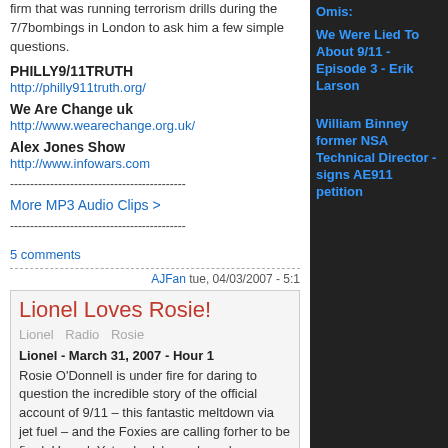firm that was running terrorism drills during the 7/7bombings in London to ask him a few simple questions.
PHILLY9/11TRUTH
http://philly911truth.org/
We Are Change uk
http://www.wearechange.org.uk/
Alex Jones Show
http://www.infowars.com
--------------------------------------------
More MP3 Audio Clips >
--------------------------------------------
5 comments
AJFan tue, 04/03/2007 - 5:1
Lionel Loves Rosie!
Lionel   Radio   Rosie
Lionel - March 31, 2007 - Hour 1
Rosie O'Donnell is under fire for daring to question the incredible story of the official account of 9/11 – this fantastic meltdown via jet fuel – and the Foxies are calling forher to be fired. Unreal. Yet nobody's read word one about anything.
http://www.truthcult.com/alexjonesfan/lionelclips/200
Omis:
We Were Lied To About 9/11 - Episode 3 - Erik Larson
William Binney former NSA Technical Director - signs AE911 petition